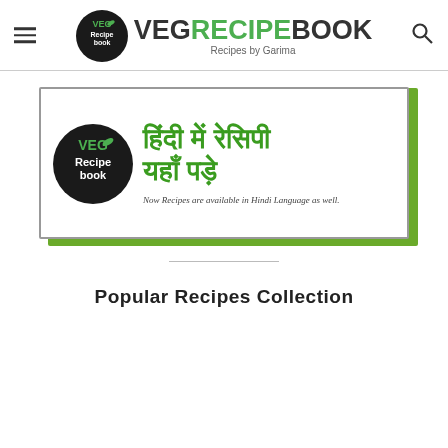VEG RECIPE BOOK — Recipes by Garima
[Figure (logo): Veg Recipe Book logo with circular black badge and green text: VEG RECIPE BOOK, Recipes by Garima]
[Figure (infographic): Banner advertisement: Veg Recipe Book logo on left, Hindi text 'हिंदी में रेसिपी यहाँ पड़े' in green bold, subtitle 'Now Recipes are available in Hindi Language as well.' Green shadow block on right and bottom.]
Popular Recipes Collection